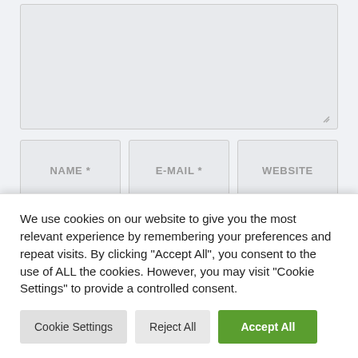[Figure (screenshot): Web form textarea input with resize handle in bottom-right corner]
[Figure (screenshot): Three form input fields labeled NAME *, E-MAIL *, and WEBSITE]
[Figure (screenshot): Submit button labeled KOMMENTAR POSTEN]
NEUESTE BEITRÄGE
We use cookies on our website to give you the most relevant experience by remembering your preferences and repeat visits. By clicking "Accept All", you consent to the use of ALL the cookies. However, you may visit "Cookie Settings" to provide a controlled consent.
[Figure (screenshot): Cookie consent buttons: Cookie Settings, Reject All, Accept All]